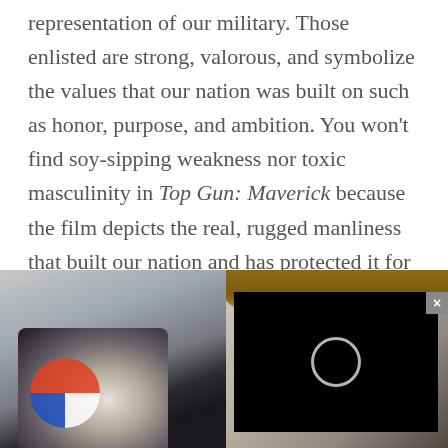representation of our military. Those enlisted are strong, valorous, and symbolize the values that our nation was built on such as honor, purpose, and ambition. You won't find soy-sipping weakness nor toxic masculinity in Top Gun: Maverick because the film depicts the real, rugged manliness that built our nation and has protected it for years.
[Figure (photo): Left: A close-up photo of a military helmet or equipment with a colorful circular patch/insignia visible. Right: A partially visible person's head with reddish-brown hair, overlaid by a black video player with a loading spinner circle and a close button (×) in the top right.]